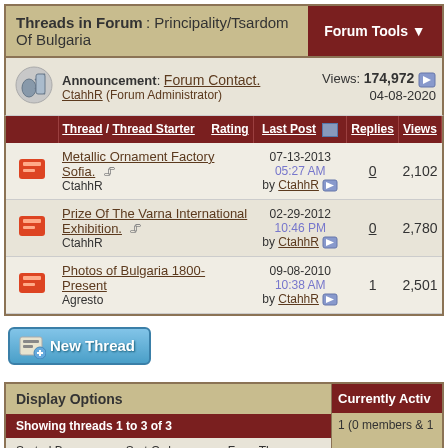Threads in Forum : Principality/Tsardom Of Bulgaria
Announcement: Forum Contact. CtahhR (Forum Administrator) Views: 174,972 04-08-2020
| Thread / Thread Starter | Rating | Last Post | Replies | Views |
| --- | --- | --- | --- | --- |
| Metallic Ornament Factory Sofia. CtahhR |  | 07-13-2013 05:27 AM by CtahhR | 0 | 2,102 |
| Prize Of The Varna International Exhibition. CtahhR |  | 02-29-2012 10:46 PM by CtahhR | 0 | 2,780 |
| Photos of Bulgaria 1800-Present Agresto |  | 09-08-2010 10:38 AM by CtahhR | 1 | 2,501 |
New Thread
Display Options
Showing threads 1 to 3 of 3
Sorted By Last Post Time | Sort Order Descending | From The Beginning
Currently Active